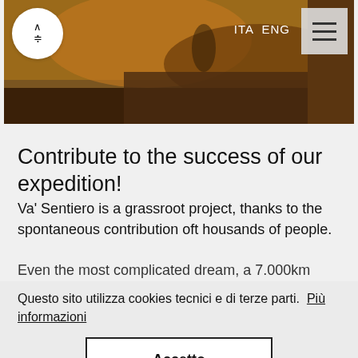[Figure (photo): Website header image showing a mountain landscape with warm orange/brown tones, a circular logo button with Korean characters in the top-left, ITA/ENG language toggle in the top center-right, and a hamburger menu icon in the top-right corner.]
Contribute to the success of our expedition!
Va' Sentiero is a grassroot project, thanks to the spontaneous contribution oft housands of people.
Even the most complicated dream, a 7.000km
Questo sito utilizza cookies tecnici e di terze parti.  Più informazioni
Accetto